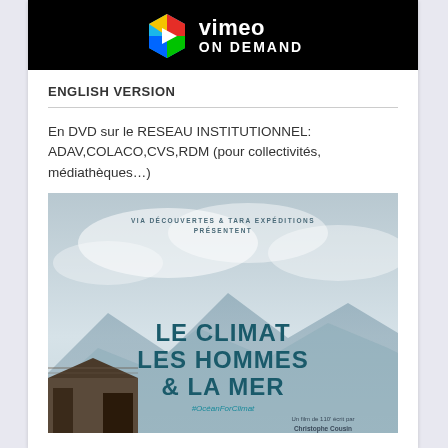[Figure (logo): Vimeo On Demand logo — black background with colorful hexagon play button icon and white text 'vimeo ON DEMAND']
ENGLISH VERSION
En DVD sur le RESEAU INSTITUTIONNEL: ADAV,COLACO,CVS,RDM (pour collectivités, médiathèques…)
[Figure (photo): Movie poster for 'Le Climat Les Hommes & La Mer' — cloudy sky background with mountains, a small hut in the lower left, text overlay with film title in teal, #OceanForClimat hashtag, and credits mentioning 'Un film de 110' écrit par Christophe Cousin']